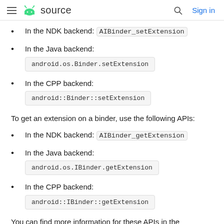≡ 🤖 source   🔍 Sign in
In the NDK backend: AIBinder_setExtension
In the Java backend:
android.os.Binder.setExtension
In the CPP backend:
android::Binder::setExtension
To get an extension on a binder, use the following APIs:
In the NDK backend: AIBinder_getExtension
In the Java backend:
android.os.IBinder.getExtension
In the CPP backend:
android::IBinder::getExtension
You can find more information for these APIs in the documentation of the setExtension function in the